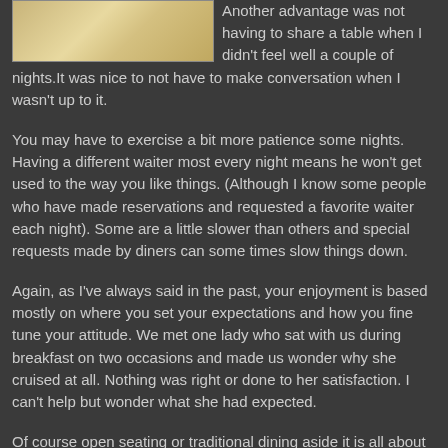[Figure (photo): Partial photo of a plate or dish on a table, showing cream/beige tones with a textured background]
Another advantage was not having to share a table when I didn't feel well a couple of nights.It was nice to not have to make conversation when I wasn't up to it.
You may have to exercise a bit more patience some nights. Having a different waiter most every night means he won't get used to the way you like things. (Although I know some people who have made reservations and requested a favorite waiter each night). Some are a little slower than others and special requests made by diners can some times slow things down.
Again, as I've always said in the past, your enjoyment is based mostly on where you set your expectations and how you fine tune your attitude. We met one lady who sat with us during breakfast on two occasions and made us wonder why she cruised at all. Nothing was right or done to her satisfaction. I can't help but wonder what she had expected.
Of course open seating or traditional dining aside it is all about the food, isn't it?